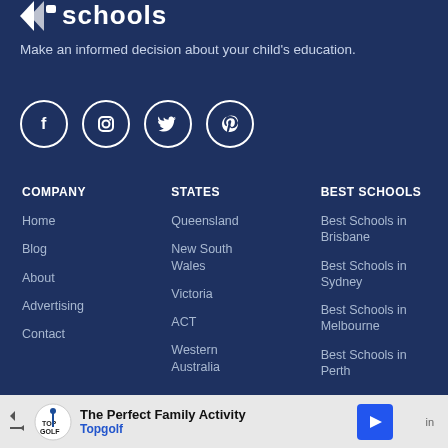schools
Make an informed decision about your child's education.
[Figure (illustration): Social media icons: Facebook, Instagram, Twitter, Pinterest in white circles on dark blue background]
COMPANY
Home
Blog
About
Advertising
Contact
STATES
Queensland
New South Wales
Victoria
ACT
Western Australia
BEST SCHOOLS
Best Schools in Brisbane
Best Schools in Sydney
Best Schools in Melbourne
Best Schools in Perth
The Perfect Family Activity Topgolf